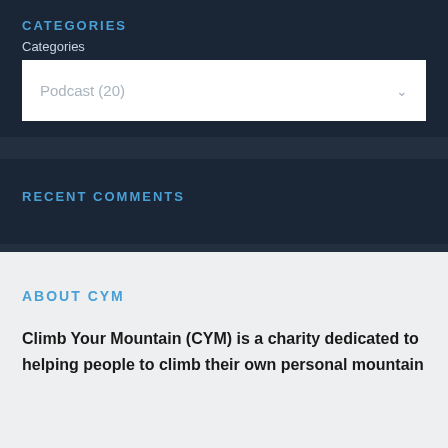CATEGORIES
Categories
Podcast (20)
RECENT COMMENTS
ABOUT CYM
Climb Your Mountain (CYM) is a charity dedicated to helping people to climb their own personal mountain